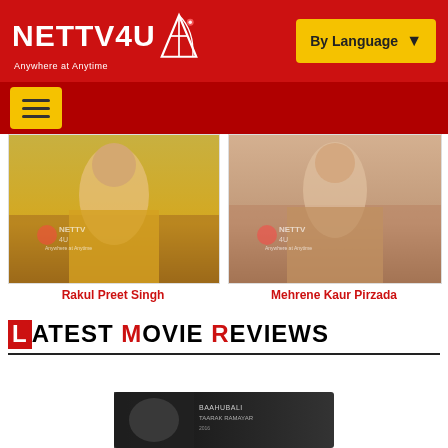NETTV4U - Anywhere at Anytime
[Figure (photo): Photo of Rakul Preet Singh with NETTV4U watermark, woman in yellow/green outfit]
Rakul Preet Singh
[Figure (photo): Photo of Mehrene Kaur Pirzada with NETTV4U watermark, woman in peach/beige outfit]
Mehrene Kaur Pirzada
LATEST MOVIE REVIEWS
[Figure (photo): Movie poster at bottom of page, dark background with text]